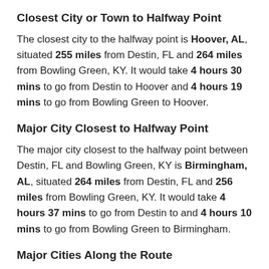Closest City or Town to Halfway Point
The closest city to the halfway point is Hoover, AL, situated 255 miles from Destin, FL and 264 miles from Bowling Green, KY. It would take 4 hours 30 mins to go from Destin to Hoover and 4 hours 19 mins to go from Bowling Green to Hoover.
Major City Closest to Halfway Point
The major city closest to the halfway point between Destin, FL and Bowling Green, KY is Birmingham, AL, situated 264 miles from Destin, FL and 256 miles from Bowling Green, KY. It would take 4 hours 37 mins to go from Destin to and 4 hours 10 mins to go from Bowling Green to Birmingham.
Major Cities Along the Route
Some other major cities along the route include